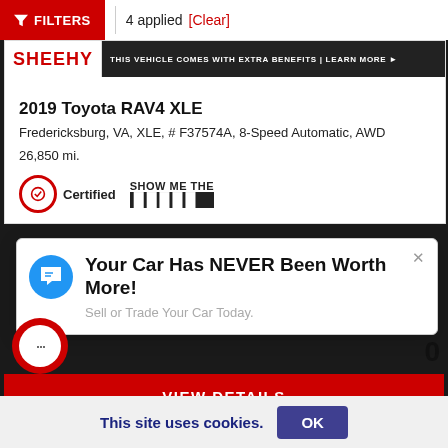FILTERS | 4 applied [Clear]
[Figure (screenshot): Sheehy dealership banner: SHEEHY logo in red on white, dark banner reading THIS VEHICLE COMES WITH EXTRA BENEFITS | LEARN MORE]
2019 Toyota RAV4 XLE
Fredericksburg, VA, XLE, # F37574A, 8-Speed Automatic, AWD
26,850 mi.
[Figure (logo): Certified badge (Toyota Certified circle logo) and SHOW ME THE CARFAX logo]
[Figure (screenshot): Chat popup overlay: Your Car Has NEVER Been Worth More! Sell or Trade Your Car Today.]
Your Car Has NEVER Been Worth More!
Sell or Trade Your Car Today.
VIEW DETAILS
This site uses cookies. OK